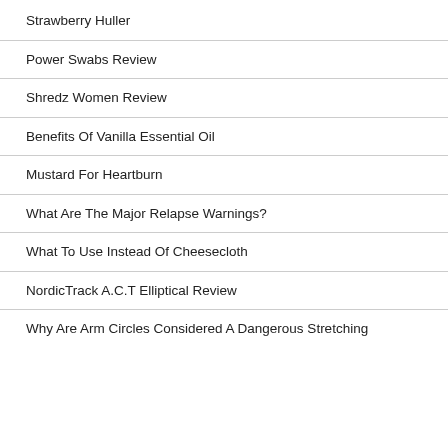Strawberry Huller
Power Swabs Review
Shredz Women Review
Benefits Of Vanilla Essential Oil
Mustard For Heartburn
What Are The Major Relapse Warnings?
What To Use Instead Of Cheesecloth
NordicTrack A.C.T Elliptical Review
Why Are Arm Circles Considered A Dangerous Stretching